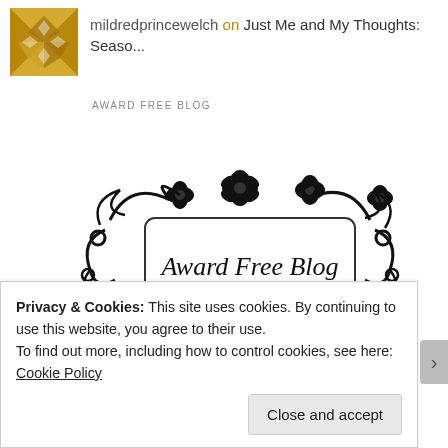mildredprincewelch on Just Me and My Thoughts: Seaso...
AWARD FREE BLOG
[Figure (illustration): Decorative Award Free Blog badge with black floral/scroll ornaments around a white rectangular sign reading 'Award Free Blog BUT I LOVE YOUR...']
Privacy & Cookies: This site uses cookies. By continuing to use this website, you agree to their use.
To find out more, including how to control cookies, see here:
Cookie Policy
Close and accept